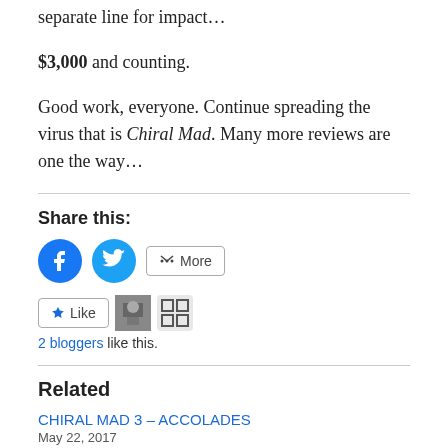separate line for impact…
$3,000 and counting.
Good work, everyone. Continue spreading the virus that is Chiral Mad. Many more reviews are one the way…
Share this:
[Figure (infographic): Share buttons: Facebook (blue circle), Twitter (blue circle), More (outlined button)]
[Figure (infographic): Like button with star icon, two blogger avatars, text: 2 bloggers like this.]
Related
CHIRAL MAD 3 – ACCOLADES
May 22, 2017